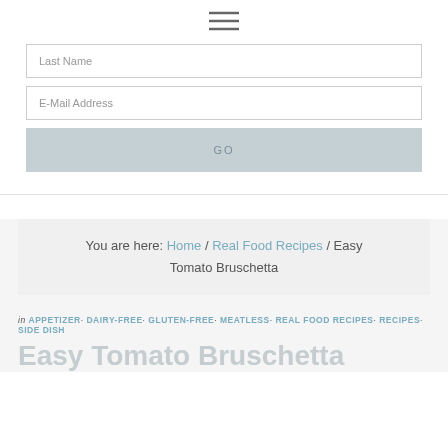[Figure (other): Hamburger menu icon (three horizontal lines)]
Last Name
E-Mail Address
GO
You are here: Home / Real Food Recipes / Easy Tomato Bruschetta
in APPETIZER· DAIRY-FREE· GLUTEN-FREE· MEATLESS· REAL FOOD RECIPES· RECIPES· SIDE DISH
Easy Tomato Bruschetta